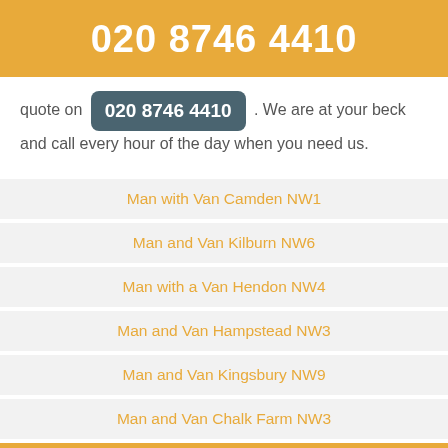020 8746 4410
quote on 020 8746 4410 . We are at your beck and call every hour of the day when you need us.
Man with Van Camden NW1
Man and Van Kilburn NW6
Man with a Van Hendon NW4
Man and Van Hampstead NW3
Man and Van Kingsbury NW9
Man and Van Chalk Farm NW3
Man with a Van Hatch End HA5